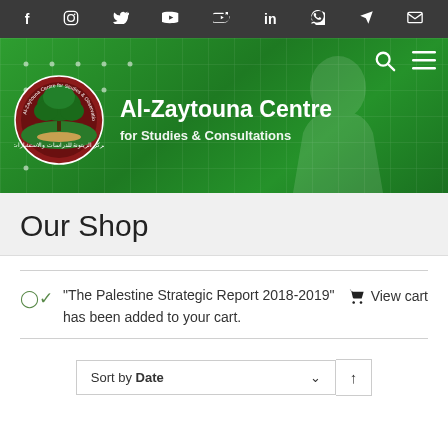[Figure (screenshot): Social media icon bar with Facebook, Instagram, Twitter, YouTube, SoundCloud, LinkedIn, WhatsApp, Telegram, and Email icons on dark background]
[Figure (logo): Al-Zaytouna Centre for Studies & Consultations website header banner with green gradient background, grid pattern, logo circle with tree, brand name text, search and menu icons]
Our Shop
“The Palestine Strategic Report 2018-2019” has been added to your cart.
View cart
Sort by Date